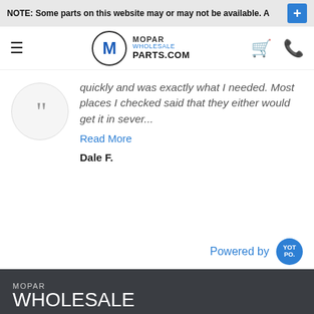NOTE: Some parts on this website may or may not be available. A
[Figure (logo): Mopar Wholesale Parts.com logo with hamburger menu, cart and phone icons]
quickly and was exactly what I needed. Most places I checked said that they either would get it in sever...
Read More
Dale F.
Powered by YOTPO
MOPAR WHOLESALE PARTS.COM
Navigation
Browse by Vehicle
About Us